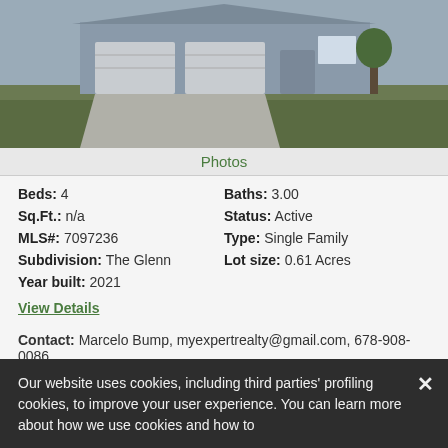[Figure (photo): Exterior photo of a single-family home with gray siding, two-car garage, and green lawn]
Photos
Beds: 4   Baths: 3.00
Sq.Ft.: n/a   Status: Active
MLS#: 7097236   Type: Single Family
Subdivision: The Glenn   Lot size: 0.61 Acres
Year built: 2021
View Details
Contact: Marcelo Bump, myexpertrealty@gmail.com, 678-908-0086
Our website uses cookies, including third parties' profiling cookies, to improve your user experience. You can learn more about how we use cookies and how to